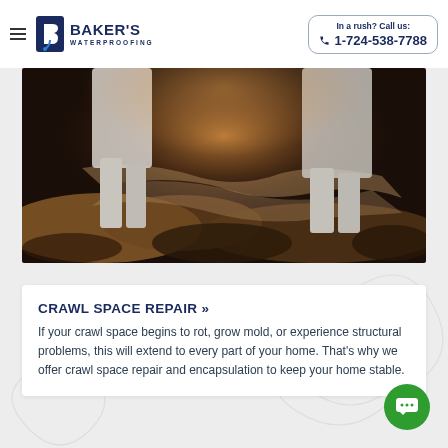Baker's Waterproofing — In a rush? Call us: 1-724-538-7788
[Figure (photo): Workers in white protective suits working in a dark crawl space with reflective sheeting and debris on the ground]
CRAWL SPACE REPAIR »
If your crawl space begins to rot, grow mold, or experience structural problems, this will extend to every part of your home. That's why we offer crawl space repair and encapsulation to keep your home stable.